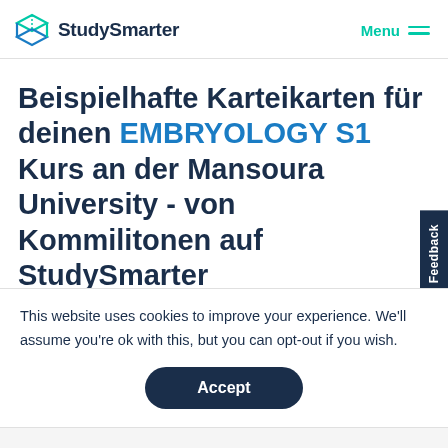StudySmarter | Menu
Beispielhafte Karteikarten für deinen EMBRYOLOGY S1 Kurs an der Mansoura University - von Kommilitonen auf StudySmarter erstellt
This website uses cookies to improve your experience. We'll assume you're ok with this, but you can opt-out if you wish.
Accept